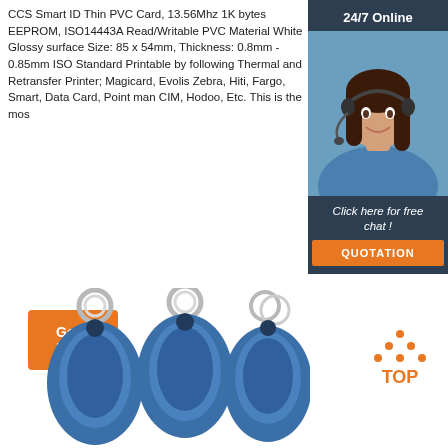CCS Smart ID Thin PVC Card, 13.56Mhz 1K bytes EEPROM, ISO14443A Read/Writable PVC Material White Glossy surface Size: 85 x 54mm, Thickness: 0.8mm - 0.85mm ISO Standard Printable by following Thermal and Retransfer Printer; Magicard, Evolis Zebra, Hiti, Fargo, Smart, Data Card, Point man CIM, Hodoo, Etc. This is the mos
[Figure (photo): Orange Get Price button]
[Figure (photo): 24/7 Online chat widget with female customer service representative wearing headset, dark background, Click here for free chat text, and orange QUOTATION button]
[Figure (photo): Three blue RFID keyfobs with metal rings at the bottom of the page]
[Figure (logo): TOP logo with orange dots and text in bottom right]